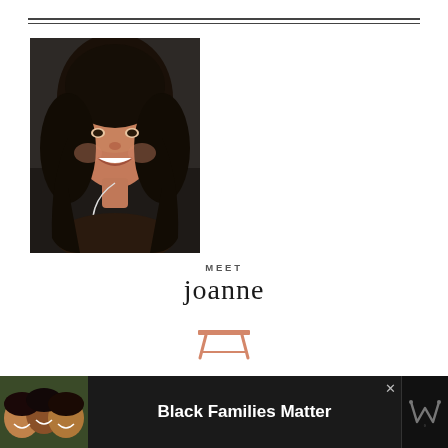[Figure (photo): Portrait photo of a young woman with long dark hair, smiling, wearing earphones, set against a dark background.]
MEET joanne
[Figure (illustration): Small orange/salmon colored table icon illustration]
Welcome to Eats Well With Others, where we take a
[Figure (photo): Advertisement banner: Black Families Matter, showing three children smiling]